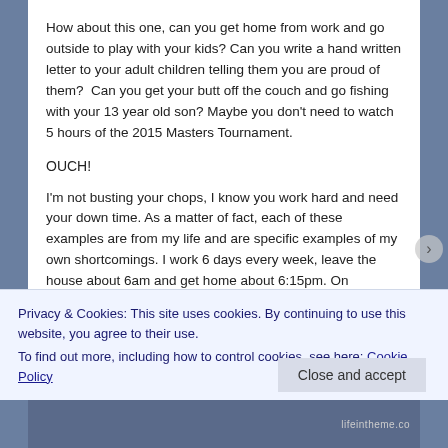How about this one, can you get home from work and go outside to play with your kids? Can you write a hand written letter to your adult children telling them you are proud of them?  Can you get your butt off the couch and go fishing with your 13 year old son? Maybe you don't need to watch 5 hours of the 2015 Masters Tournament.
OUCH!
I'm not busting your chops, I know you work hard and need your down time. As a matter of fact, each of these examples are from my life and are specific examples of my own shortcomings. I work 6 days every week, leave the house about 6am and get home about 6:15pm. On Wednesday nights and Sunday mornings we go to church. Every other week I devote about 9 hours to preaching at an assisted living community.
Privacy & Cookies: This site uses cookies. By continuing to use this website, you agree to their use.
To find out more, including how to control cookies, see here: Cookie Policy